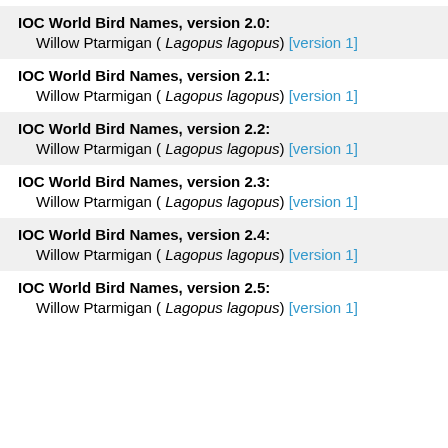IOC World Bird Names, version 2.0:
Willow Ptarmigan ( Lagopus lagopus) [version 1]
IOC World Bird Names, version 2.1:
Willow Ptarmigan ( Lagopus lagopus) [version 1]
IOC World Bird Names, version 2.2:
Willow Ptarmigan ( Lagopus lagopus) [version 1]
IOC World Bird Names, version 2.3:
Willow Ptarmigan ( Lagopus lagopus) [version 1]
IOC World Bird Names, version 2.4:
Willow Ptarmigan ( Lagopus lagopus) [version 1]
IOC World Bird Names, version 2.5:
Willow Ptarmigan ( Lagopus lagopus) [version 1]